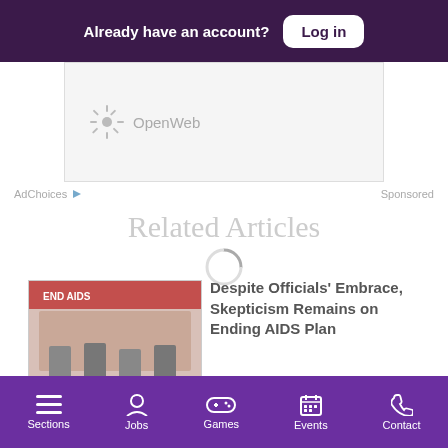Already have an account? Log in
[Figure (logo): OpenWeb logo in gray with sunburst icon, shown inside an advertisement placeholder box]
AdChoices  Sponsored
Related Articles
[Figure (photo): Photo of people at a conference table with an END AIDS banner in the background]
Despite Officials' Embrace, Skepticism Remains on Ending AIDS Plan
Sections  Jobs  Games  Events  Contact